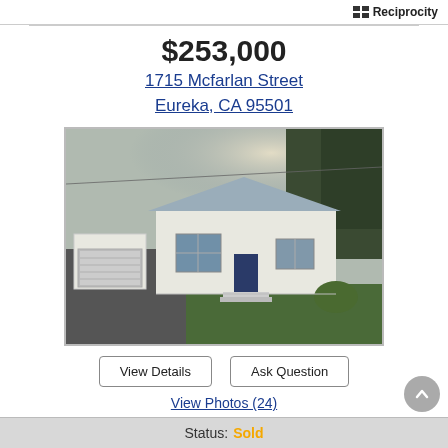Reciprocity
$253,000
1715 Mcfarlan Street
Eureka, CA 95501
[Figure (photo): Exterior photo of a white single-story house with a detached garage, blue door, green lawn, and overcast sky.]
View Details | Ask Question
View Photos (24)
Status: Sold